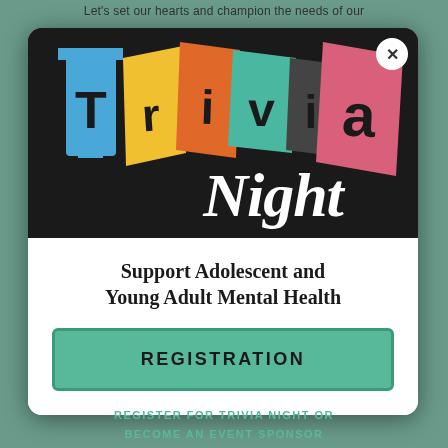Let's set our hearts and champion the needs of our
[Figure (illustration): Trivia Night logo on dark background with colorful retro letter blocks spelling 'Trivia' in blue, yellow, orange, teal, pink colors, and 'Night' in white cursive script. Close (X) button in top right corner.]
Support Adolescent and Young Adult Mental Health
REGISTRATION
REGISTER FOR TRIVIA NIGHT OR BECOME AN EVENT SPONSOR